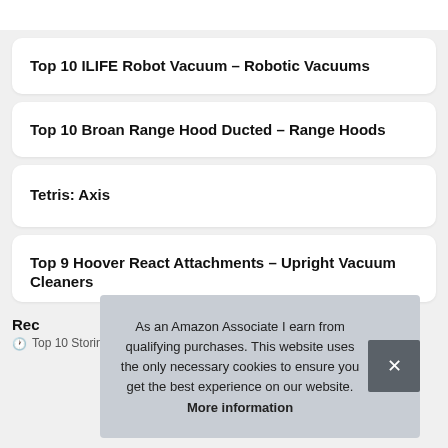Top 10 ILIFE Robot Vacuum – Robotic Vacuums
Top 10 Broan Range Hood Ducted – Range Hoods
Tetris: Axis
Top 9 Hoover React Attachments – Upright Vacuum Cleaners
Rec
Top 10 Storing Containers for Bedrooms – Refrigerator Egg
As an Amazon Associate I earn from qualifying purchases. This website uses the only necessary cookies to ensure you get the best experience on our website. More information